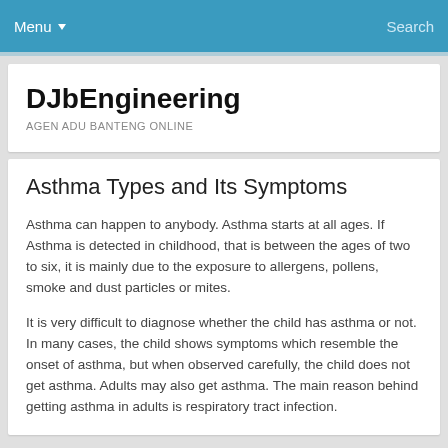Menu  Search
DJbEngineering
AGEN ADU BANTENG ONLINE
Asthma Types and Its Symptoms
Asthma can happen to anybody. Asthma starts at all ages. If Asthma is detected in childhood, that is between the ages of two to six, it is mainly due to the exposure to allergens, pollens, smoke and dust particles or mites.
It is very difficult to diagnose whether the child has asthma or not. In many cases, the child shows symptoms which resemble the onset of asthma, but when observed carefully, the child does not get asthma. Adults may also get asthma. The main reason behind getting asthma in adults is respiratory tract infection.